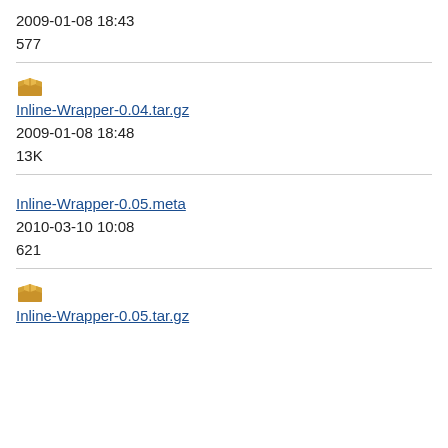2009-01-08 18:43
577
[Figure (illustration): Box/archive icon (golden/tan colored open box)]
Inline-Wrapper-0.04.tar.gz
2009-01-08 18:48
13K
Inline-Wrapper-0.05.meta
2010-03-10 10:08
621
[Figure (illustration): Box/archive icon (golden/tan colored open box)]
Inline-Wrapper-0.05.tar.gz